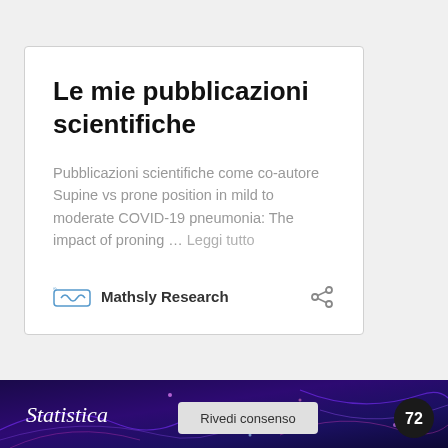Le mie pubblicazioni scientifiche
Pubblicazioni scientifiche come co-autore Supine vs prone position in mild to moderate COVID-19 pneumonia: The impact of proning … Leggi tutto
Mathsly Research
[Figure (infographic): Bottom banner with 'Statistica' text, 'Rivedi consenso' button, and '72' badge on dark purple background with decorative glowing lines]
Statistica   Rivedi consenso   72